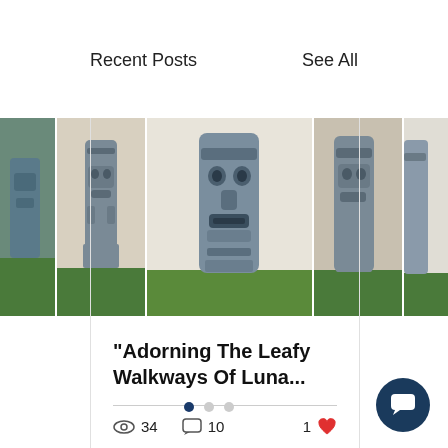Recent Posts
See All
[Figure (photo): A horizontal strip of four photos showing painted tiki/Easter Island style stone figurines standing on green grass, shown from different angles. The statues are grey-blue stone color.]
"Adorning The Leafy Walkways Of Luna...
34 views  10 comments  1 like
Pagination dots: 3 dots, first active
[Figure (illustration): Dark navy circle chat button with white speech bubble icon]